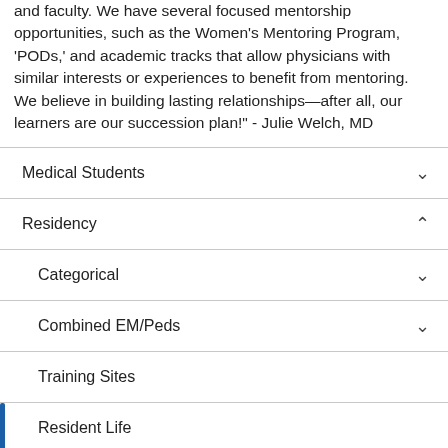and faculty. We have several focused mentorship opportunities, such as the Women's Mentoring Program, 'PODs,' and academic tracks that allow physicians with similar interests or experiences to benefit from mentoring. We believe in building lasting relationships—after all, our learners are our succession plan!" - Julie Welch, MD
Medical Students
Residency
Categorical
Combined EM/Peds
Training Sites
Resident Life